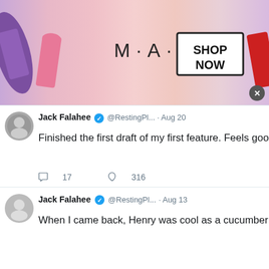[Figure (photo): MAC Cosmetics advertisement banner with lipsticks and 'SHOP NOW' button]
Jack Falahee @RestingPl... · Aug 20
Finished the first draft of my first feature. Feels good. Now, 10 more drafts.
17 replies · 316 likes
Jack Falahee @RestingPl... · Aug 13
When I came back, Henry was cool as a cucumber and says to me "while you
"I Wa... wed... is wi... EST)
"How Anna... Naom... Char... Ham... Emm...
Gues... Sulz...
[Figure (screenshot): NFL Shop advertisement with Cowboys jersey, free shipping offer, and navigation arrow]